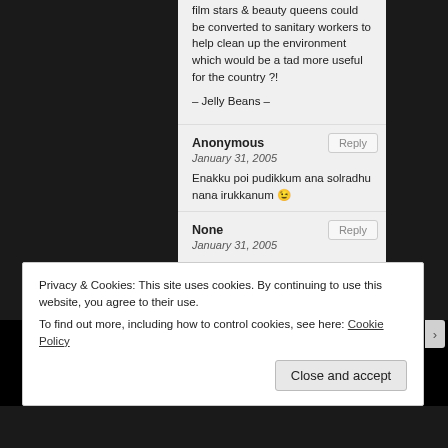film stars & beauty queens could be converted to sanitary workers to help clean up the environment which would be a tad more useful for the country ?!
– Jelly Beans –
Anonymous
January 31, 2005
Enakku poi pudikkum ana solradhu nana irukkanum 😉
None
January 31, 2005
Privacy & Cookies: This site uses cookies. By continuing to use this website, you agree to their use.
To find out more, including how to control cookies, see here: Cookie Policy
Close and accept